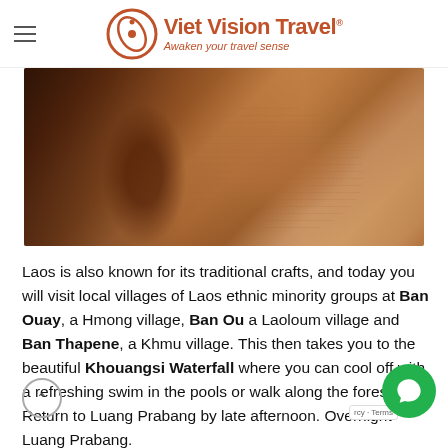Viet Vision Travel — Awaken your travel sense
[Figure (photo): Close-up photo of clay-covered hands shaping a pottery vessel on a spinning wheel, warm brown tones]
Laos is also known for its traditional crafts, and today you will visit local villages of Laos ethnic minority groups at Ban Ouay, a Hmong village, Ban Ou a Laoloum village and Ban Thapene, a Khmu village. This then takes you to the beautiful Khouangsi Waterfall where you can cool off with a refreshing swim in the pools or walk along the forest. Return to Luang Prabang by late afternoon. Overnight Luang Prabang.